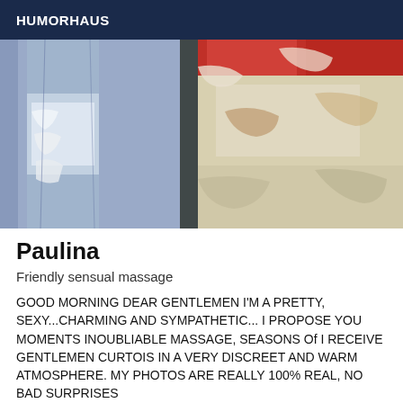HUMORHAUS
[Figure (photo): Photo showing ripped jeans on the left side and a weathered/peeling surface or object on the right side with red, yellow, and white paint]
Paulina
Friendly sensual massage
GOOD MORNING DEAR GENTLEMEN I'M A PRETTY, SEXY...CHARMING AND SYMPATHETIC... I PROPOSE YOU MOMENTS INOUBLIABLE MASSAGE, SEASONS Of I RECEIVE GENTLEMEN CURTOIS IN A VERY DISCREET AND WARM ATMOSPHERE. MY PHOTOS ARE REALLY 100% REAL, NO BAD SURPRISES